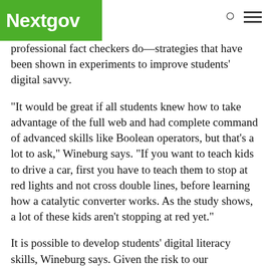Nextgov
professional fact checkers do—strategies that have been shown in experiments to improve students' digital savvy.
“It would be great if all students knew how to take advantage of the full web and had complete command of advanced skills like Boolean operators, but that’s a lot to ask,” Wineburg says. “If you want to teach kids to drive a car, first you have to teach them to stop at red lights and not cross double lines, before learning how a catalytic converter works. As the study shows, a lot of these kids aren’t stopping at red yet.”
It is possible to develop students’ digital literacy skills, Wineburg says. Given the risk to our democracy, it will be critical for schools to integrate these skills into all subjects, from history to math, and at every grade level.
“The kids can do it,” Wineburg says. “We must help get them